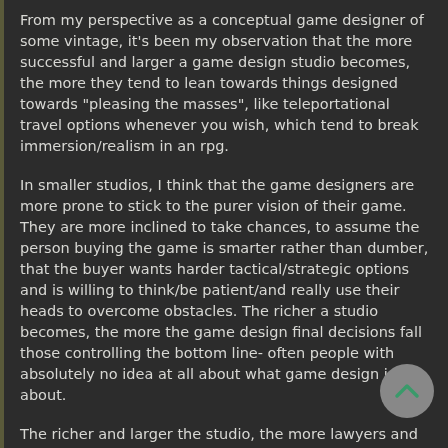From my perspective as a conceptual game designer of some vintage, it's been my observation that the more successful and larger a game design studio becomes, the more they tend to lean towards things designed towards "pleasing the masses", like teleportational travel options whenever you wish, which tend to break immersion/realism in an rpg.
In smaller studios, I think that the game designers are more prone to stick to the purer vision of their game. They are more inclined to take chances, to assume the person buying the game is smarter rather than dumber, that the buyer wants harder tactical/strategic options and is willing to think/be patient/and really use their heads to overcome obstacles. The richer a studio becomes, the more the game design final decisions fall those controlling the bottom line- often people with absolutely no idea at all about what game design is about.
The richer and larger the studio, the more lawyers and bean-counters the company has that they tend to listen to, which eventually waters down rpgs into mindless corridors with lots of carrots on sticks and not too much thinking. Bethesda's whole existence perfectly follow this path of "trying to please the common gamer", which results in pretty, but tawdry boring gameplay which is all icing and little real interesting exploration or feel of challenging